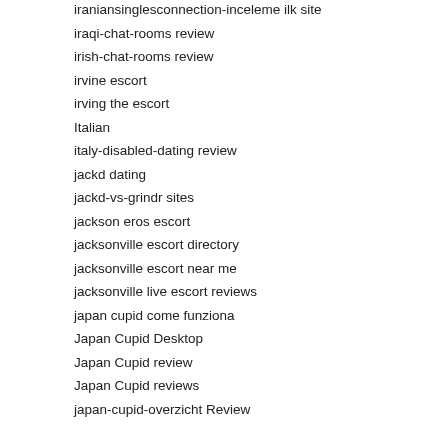iraniansinglesconnection-inceleme ilk site
iraqi-chat-rooms review
irish-chat-rooms review
irvine escort
irving the escort
Italian
italy-disabled-dating review
jackd dating
jackd-vs-grindr sites
jackson eros escort
jacksonville escort directory
jacksonville escort near me
jacksonville live escort reviews
japan cupid come funziona
Japan Cupid Desktop
Japan Cupid review
Japan Cupid reviews
japan-cupid-overzicht Review